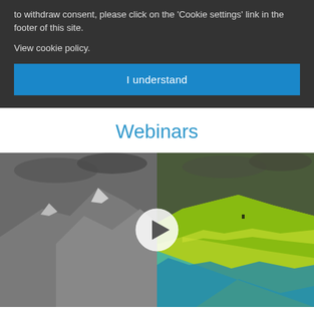to withdraw consent, please click on the 'Cookie settings' link in the footer of this site.
View cookie policy.
I understand
Webinars
[Figure (photo): Mountain landscape showing a split view: left half is black and white rocky mountain, right half is the same scene rendered in false-color (yellows, greens, blues) showing vegetation and terrain data. A white play button circle is overlaid in the center.]